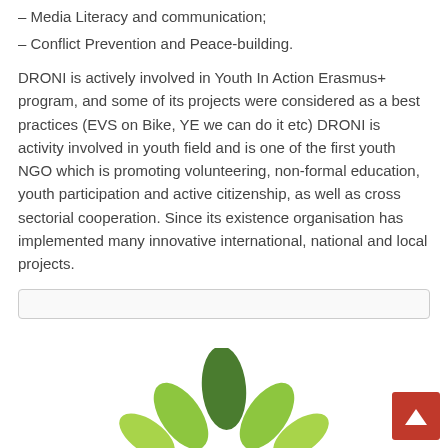– Media Literacy and communication;
– Conflict Prevention and Peace-building.
DRONI is actively involved in Youth In Action Erasmus+ program, and some of its projects were considered as a best practices (EVS on Bike, YE we can do it etc) DRONI is activity involved in youth field and is one of the first youth NGO which is promoting volunteering, non-formal education, youth participation and active citizenship, as well as cross sectorial cooperation. Since its existence organisation has implemented many innovative international, national and local projects.
[Figure (illustration): Search bar input field (empty)]
[Figure (logo): Green leaf/flower logo at the bottom center of the page]